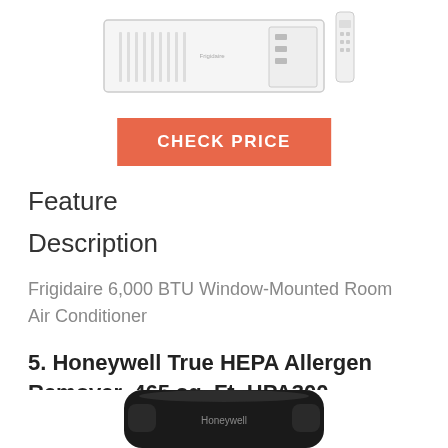[Figure (photo): Frigidaire window-mounted room air conditioner, white, with remote control, viewed from front/top angle]
CHECK PRICE
Feature
Description
Frigidaire 6,000 BTU Window-Mounted Room Air Conditioner
5. Honeywell True HEPA Allergen Remover, 465 sq. Ft, HPA300
[Figure (photo): Honeywell True HEPA air purifier HPA300, black, viewed from front, partially cropped at bottom]